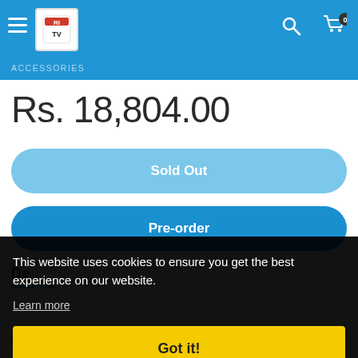RTV store header with hamburger menu, logo, search and cart icons
ACCESSORIES
Rs. 18,804.00
Sold Out
Pre-order
De...
This website uses cookies to ensure you get the best experience on our website. Learn more
Got it!
photography. It extends from just 2.4" above